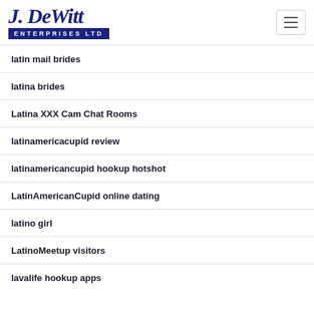J. DeWitt ENTERPRISES LTD
latin mail brides
latina brides
Latina XXX Cam Chat Rooms
latinamericacupid review
latinamericancupid hookup hotshot
LatinAmericanCupid online dating
latino girl
LatinoMeetup visitors
lavalife hookup apps